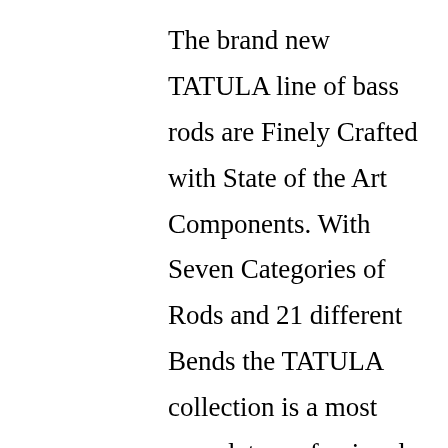The brand new TATULA line of bass rods are Finely Crafted with State of the Art Components. With Seven Categories of Rods and 21 different Bends the TATULA collection is a most complete professional collection of bass rods. There are 7 spinning designs, 6 casting models, 2 flipping rods, 2 shallow crank/jerkbait rods, 3 glass cranking and spinnerbait rods and a frogging rod. The  beautifully  Crafted Natural Cork Handles, considering the...